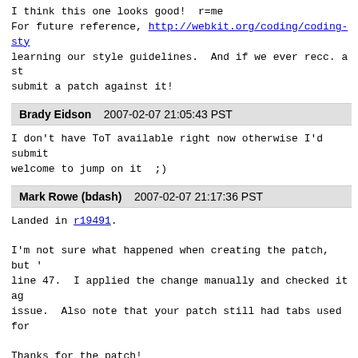I think this one looks good!  r=me
For future reference, http://webkit.org/coding/coding-sty
learning our style guidelines.  And if we ever recc. a st
submit a patch against it!
Brady Eidson    2007-02-07 21:05:43 PST
I don't have ToT available right now otherwise I'd submit
welcome to jump on it  ;)
Mark Rowe (bdash)    2007-02-07 21:17:36 PST
Landed in r19491.

I'm not sure what happened when creating the patch, but '
line 47.  I applied the change manually and checked it ag
issue.  Also note that your patch still had tabs used for

Thanks for the patch!
Format For Printing - XML - Clone This Bug - Top of page
Home | New | Browse | Search | [Search box] [Search] [?] | Reports | Requests | Help | New Account | Log In | Forgot Password